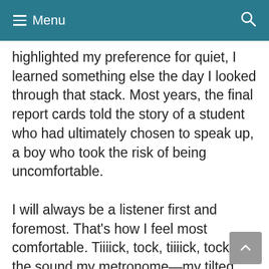Menu
highlighted my preference for quiet, I learned something else the day I looked through that stack. Most years, the final report cards told the story of a student who had ultimately chosen to speak up, a boy who took the risk of being uncomfortable.

I will always be a listener first and foremost. That's how I feel most comfortable. Tiiiick, tock, tiiiick, tock, is the sound my metronome—my tilted metronome—makes. If you are a